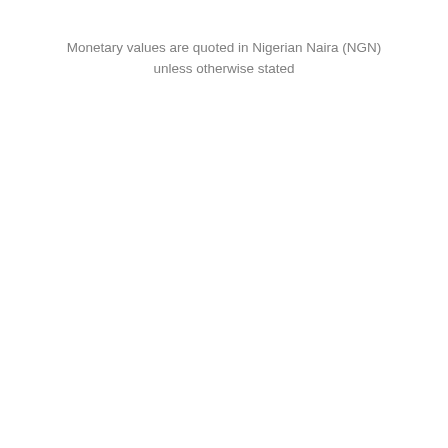Monetary values are quoted in Nigerian Naira (NGN) unless otherwise stated